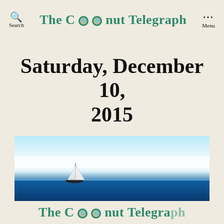Search  The Coconut Telegraph  Menu
Saturday, December 10, 2015
[Figure (photo): Wide panoramic photo of a sailing ship on calm blue ocean water with bright sky above and a horizon line across the middle.]
The Coconut Telegraph